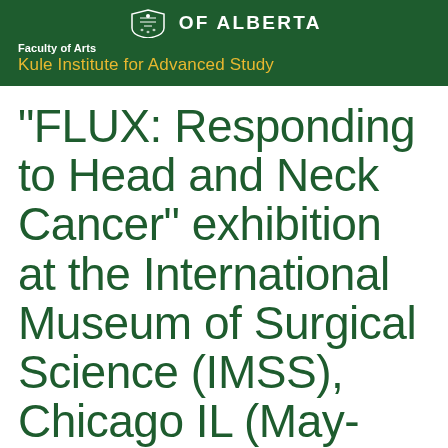[Figure (logo): University of Alberta shield logo, partially visible at top center, white on dark green background]
Faculty of Arts
Kule Institute for Advanced Study
"FLUX: Responding to Head and Neck Cancer" exhibition at the International Museum of Surgical Science (IMSS), Chicago IL (May-